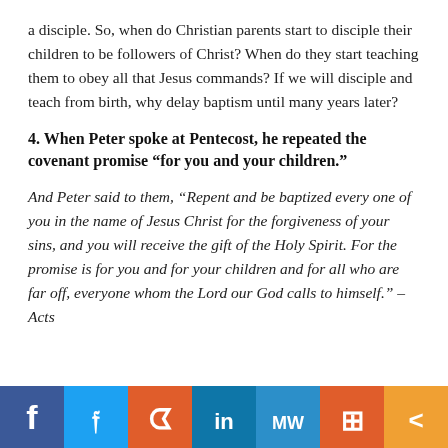a disciple. So, when do Christian parents start to disciple their children to be followers of Christ? When do they start teaching them to obey all that Jesus commands? If we will disciple and teach from birth, why delay baptism until many years later?
4. When Peter spoke at Pentecost, he repeated the covenant promise “for you and your children.”
And Peter said to them, “Repent and be baptized every one of you in the name of Jesus Christ for the forgiveness of your sins, and you will receive the gift of the Holy Spirit. For the promise is for you and for your children and for all who are far off, everyone whom the Lord our God calls to himself.” – Acts
[Figure (infographic): Social media sharing bar with icons for Facebook, Twitter, Reddit, LinkedIn, MeWe, Mix, and Share]